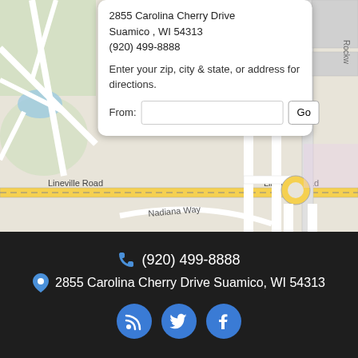[Figure (map): Interactive map showing location at 2855 Carolina Cherry Drive, Suamico, WI 54313 with a blue map pin marker, showing roads including Nadiana Way and Lineville Road]
2855 Carolina Cherry Drive
Suamico , WI 54313
(920) 499-8888
Enter your zip, city & state, or address for directions.
From:
(920) 499-8888
2855 Carolina Cherry Drive Suamico, WI 54313